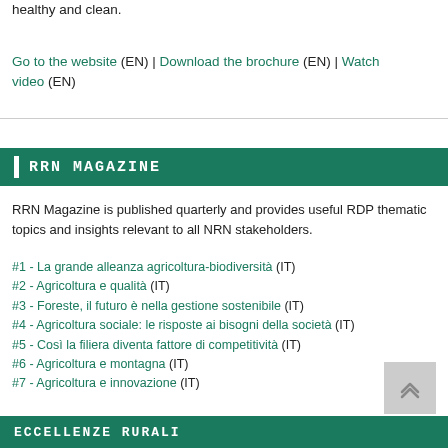healthy and clean.
Go to the website (EN) | Download the brochure (EN) | Watch video (EN)
RRN MAGAZINE
RRN Magazine is published quarterly and provides useful RDP thematic topics and insights relevant to all NRN stakeholders.
#1 - La grande alleanza agricoltura-biodiversità (IT)
#2 - Agricoltura e qualità (IT)
#3 - Foreste, il futuro è nella gestione sostenibile (IT)
#4 - Agricoltura sociale: le risposte ai bisogni della società (IT)
#5 - Così la filiera diventa fattore di competitività (IT)
#6 - Agricoltura e montagna (IT)
#7 - Agricoltura e innovazione (IT)
ECCELLENZE RURALI